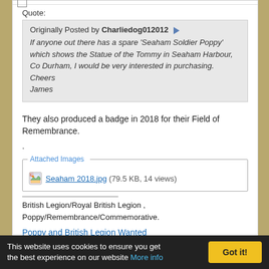Quote:
Originally Posted by Charliedog012012
If anyone out there has a spare 'Seaham Soldier Poppy' which shows the Statue of the Tommy in Seaham Harbour, Co Durham, I would be very interested in purchasing.
Cheers
James
They also produced a badge in 2018 for their Field of Remembrance.
.
Attached Images
Seaham 2018.jpg (79.5 KB, 14 views)
British Legion/Royal British Legion ,
Poppy/Remembrance/Commemorative.
Poppy and British Legion Wanted
This website uses cookies to ensure you get the best experience on our website More info
Got it!